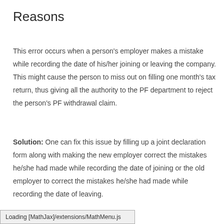Reasons
This error occurs when a person's employer makes a mistake while recording the date of his/her joining or leaving the company. This might cause the person to miss out on filling one month's tax return, thus giving all the authority to the PF department to reject the person's PF withdrawal claim.
Solution: One can fix this issue by filling up a joint declaration form along with making the new employer correct the mistakes he/she had made while recording the date of joining or the old employer to correct the mistakes he/she had made while recording the date of leaving.
Loading [MathJax]/extensions/MathMenu.js